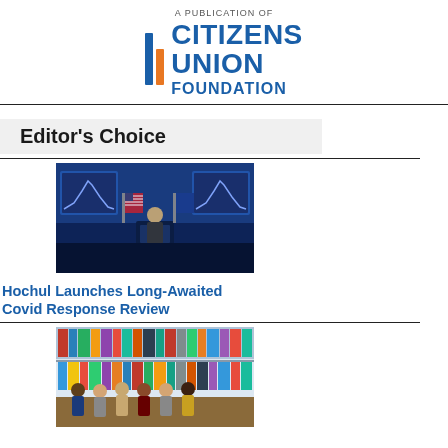[Figure (logo): Citizens Union Foundation logo with two vertical bars (blue and orange) and bold blue text reading CITIZENS UNION FOUNDATION, above text reading A PUBLICATION OF]
Editor's Choice
[Figure (photo): A woman speaking at a podium on a stage with an American flag and New York State flag, with two large screens showing a curve graph in the background, blue lighting.]
Hochul Launches Long-Awaited Covid Response Review
[Figure (photo): Six people standing in a row in front of a bookshelf filled with colorful books, posing for a group photo.]